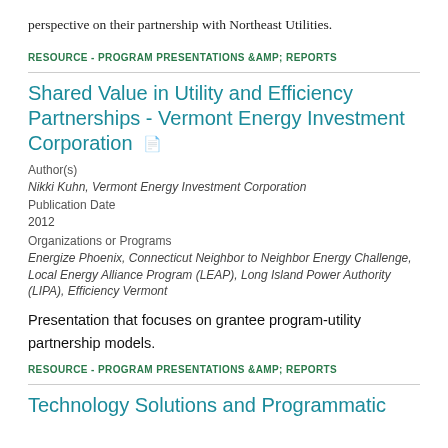perspective on their partnership with Northeast Utilities.
RESOURCE - PROGRAM PRESENTATIONS &AMP; REPORTS
Shared Value in Utility and Efficiency Partnerships - Vermont Energy Investment Corporation
Author(s)
Nikki Kuhn, Vermont Energy Investment Corporation
Publication Date
2012
Organizations or Programs
Energize Phoenix, Connecticut Neighbor to Neighbor Energy Challenge, Local Energy Alliance Program (LEAP), Long Island Power Authority (LIPA), Efficiency Vermont
Presentation that focuses on grantee program-utility partnership models.
RESOURCE - PROGRAM PRESENTATIONS &AMP; REPORTS
Technology Solutions and Programmatic